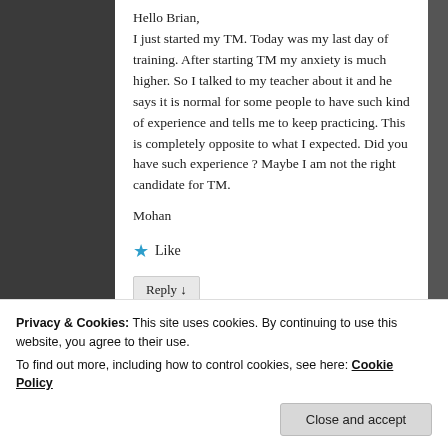Hello Brian,
I just started my TM. Today was my last day of training. After starting TM my anxiety is much higher. So I talked to my teacher about it and he says it is normal for some people to have such kind of experience and tells me to keep practicing. This is completely opposite to what I expected. Did you have such experience ? Maybe I am not the right candidate for TM.

Mohan
★ Like
Reply ↓
Privacy & Cookies: This site uses cookies. By continuing to use this website, you agree to their use.
To find out more, including how to control cookies, see here: Cookie Policy
Close and accept
I did. For me I became very emotional